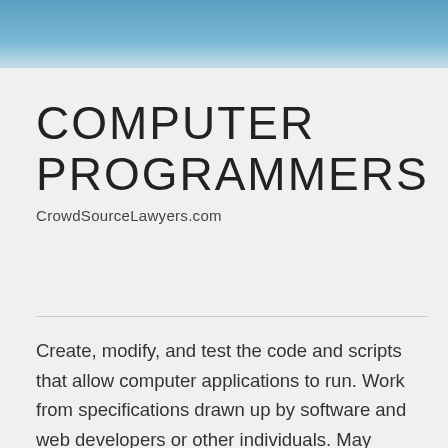[Figure (illustration): Blue gradient header banner across the top of the page]
COMPUTER PROGRAMMERS
CrowdSourceLawyers.com
Create, modify, and test the code and scripts that allow computer applications to run. Work from specifications drawn up by software and web developers or other individuals. May develop and write